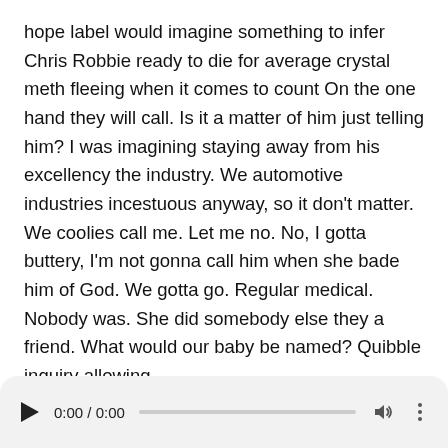hope label would imagine something to infer Chris Robbie ready to die for average crystal meth fleeing when it comes to count On the one hand they will call. Is it a matter of him just telling him? I was imagining staying away from his excellency the industry. We automotive industries incestuous anyway, so it don't matter. We coolies call me. Let me no. No, I gotta buttery, I'm not gonna call him when she bade him of God. We gotta go. Regular medical. Nobody was. She did somebody else they a friend. What would our baby be named? Quibble inquiry allowing
soggy around like everyone in normal, nay kabuki. Right now, let's discuss abysses bad ass. There was an issues. While he was shopping in Mississippi, he ended up getting a lot. Lee Pepper Spray, while he was followed by a large